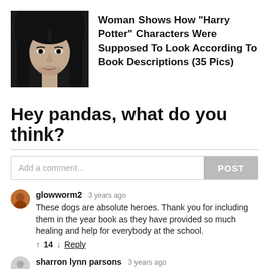[Figure (photo): Dark portrait photo of a man with long dark hair, pale skin, and intense eyes — resembling a Harry Potter character.]
Woman Shows How "Harry Potter" Characters Were Supposed To Look According To Book Descriptions (35 Pics)
Hey pandas, what do you think?
Add a comment...
POST
glowworm2  3 years ago
These dogs are absolute heroes. Thank you for including them in the year book as they have provided so much healing and help for everybody at the school.
↑ 14 ↓ Reply
sharron lynn parsons  3 years ago